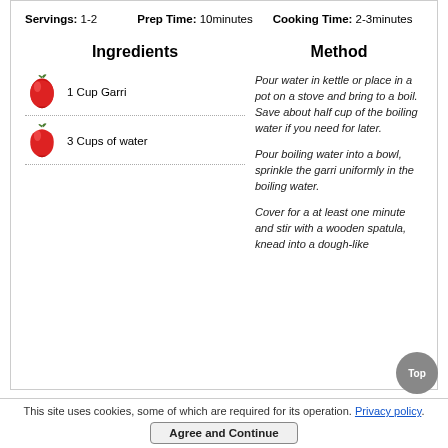Servings: 1-2   Prep Time: 10minutes   Cooking Time: 2-3minutes
Ingredients
Method
1 Cup Garri
3 Cups of water
Pour water in kettle or place in a pot on a stove and bring to a boil. Save about half cup of the boiling water if you need for later.
Pour boiling water into a bowl, sprinkle the garri uniformly in the boiling water.
Cover for a at least one minute and stir with a wooden spatula, knead into a dough-like
This site uses cookies, some of which are required for its operation. Privacy policy.